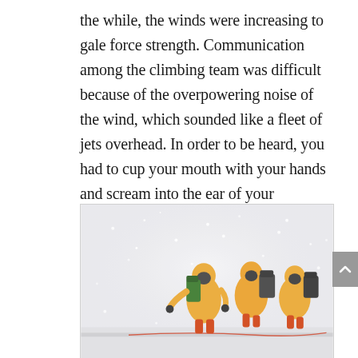the while, the winds were increasing to gale force strength. Communication among the climbing team was difficult because of the overpowering noise of the wind, which sounded like a fleet of jets overhead. In order to be heard, you had to cup your mouth with your hands and scream into the ear of your teammate.
[Figure (photo): Three mountaineers in yellow jackets and orange gear with large backpacks trudging through a blizzard/snowstorm, connected by a rope, leaning into the wind.]